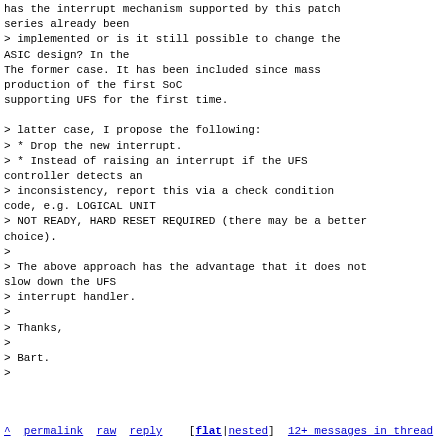has the interrupt mechanism supported by this patch series already been
> implemented or is it still possible to change the ASIC design? In the
The former case. It has been included since mass production of the first SoC
supporting UFS for the first time.

> latter case, I propose the following:
> * Drop the new interrupt.
> * Instead of raising an interrupt if the UFS controller detects an
> inconsistency, report this via a check condition code, e.g. LOGICAL UNIT
> NOT READY, HARD RESET REQUIRED (there may be a better choice).
>
> The above approach has the advantage that it does not slow down the UFS
> interrupt handler.
>
> Thanks,
>
> Bart.
>
^ permalink raw reply   [flat|nested] 12+ messages in thread